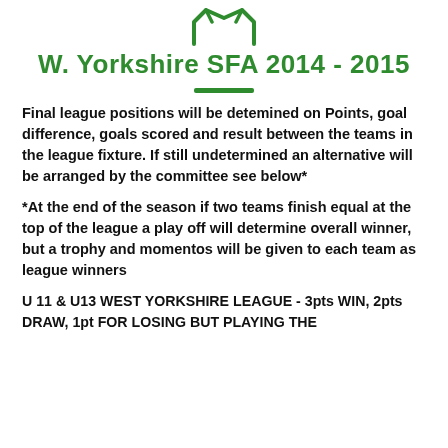[Figure (logo): Green shield/badge logo outline with decorative top edges]
W. Yorkshire SFA 2014 - 2015
Final league positions will be detemined on Points, goal difference, goals scored and result between the teams in the league fixture. If still undetermined an alternative will be arranged by the committee see below*
*At the end of the season if two teams finish equal at the top of the league a play off will determine overall winner, but a trophy and momentos will be given to each team as league winners
U 11 & U13 WEST YORKSHIRE LEAGUE - 3pts WIN, 2pts DRAW, 1pt FOR LOSING BUT PLAYING THE